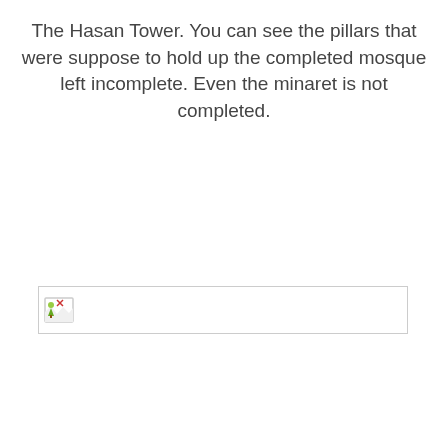The Hasan Tower. You can see the pillars that were suppose to hold up the completed mosque left incomplete. Even the minaret is not completed.
[Figure (photo): A broken/missing image placeholder showing a small image icon with a border, representing a photo of the Hasan Tower that failed to load.]